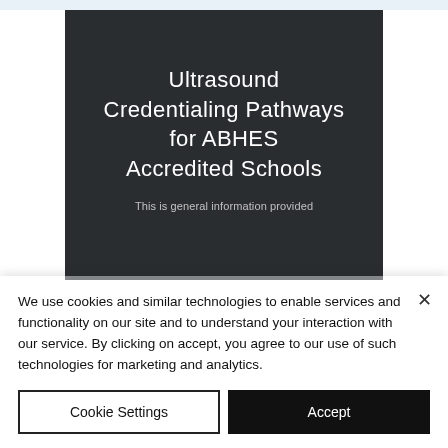[Figure (photo): Dark background image with centered white text reading 'Ultrasound Credentialing Pathways for ABHES Accredited Schools' and subtitle 'This is general information provided']
We use cookies and similar technologies to enable services and functionality on our site and to understand your interaction with our service. By clicking on accept, you agree to our use of such technologies for marketing and analytics.
Cookie Settings
Accept